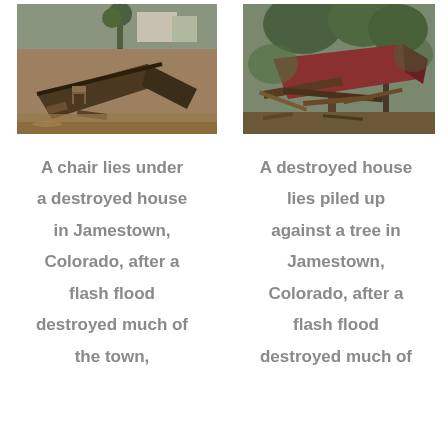[Figure (photo): A collapsed/destroyed house structure lying in floodwaters in Jamestown, Colorado. Debris and muddy water visible.]
[Figure (photo): A destroyed red house or structure piled up against a tree in Jamestown, Colorado after a flash flood.]
A chair lies under a destroyed house in Jamestown, Colorado, after a flash flood destroyed much of the town,
A destroyed house lies piled up against a tree in Jamestown, Colorado, after a flash flood destroyed much of the town,